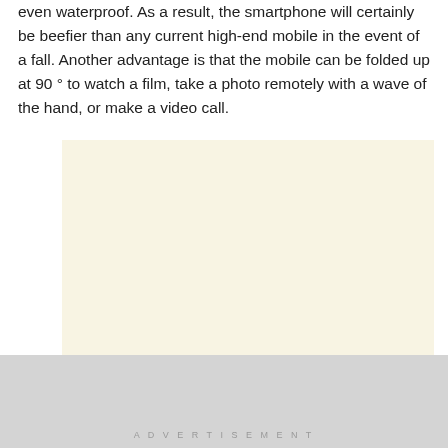even waterproof. As a result, the smartphone will certainly be beefier than any current high-end mobile in the event of a fall. Another advantage is that the mobile can be folded up at 90 ° to watch a film, take a photo remotely with a wave of the hand, or make a video call.
[Figure (other): A blank cream/off-white colored rectangular placeholder box, likely an image placeholder.]
ADVERTISEMENT